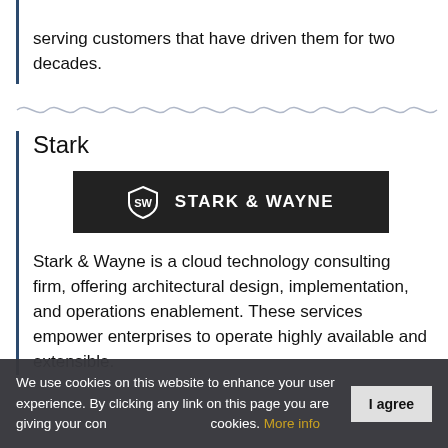serving customers that have driven them for two decades.
[Figure (illustration): Wavy decorative divider line]
Stark
[Figure (logo): Stark & Wayne logo — white text and shield icon on black background]
Stark & Wayne is a cloud technology consulting firm, offering architectural design, implementation, and operations enablement. These services empower enterprises to operate highly available and extensible.
We use cookies on this website to enhance your user experience. By clicking any link on this page you are giving your consent for us to set cookies. More info